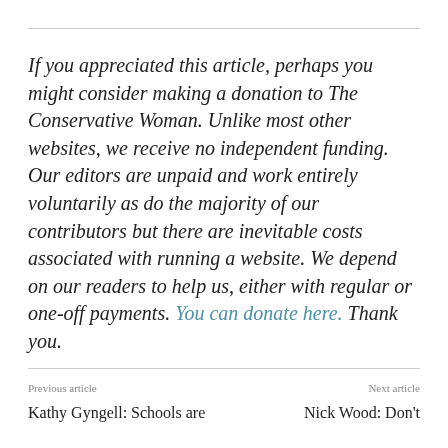If you appreciated this article, perhaps you might consider making a donation to The Conservative Woman. Unlike most other websites, we receive no independent funding. Our editors are unpaid and work entirely voluntarily as do the majority of our contributors but there are inevitable costs associated with running a website. We depend on our readers to help us, either with regular or one-off payments. You can donate here. Thank you.
Previous article | Kathy Gyngell: Schools are ... | Next article | Nick Wood: Don't ...